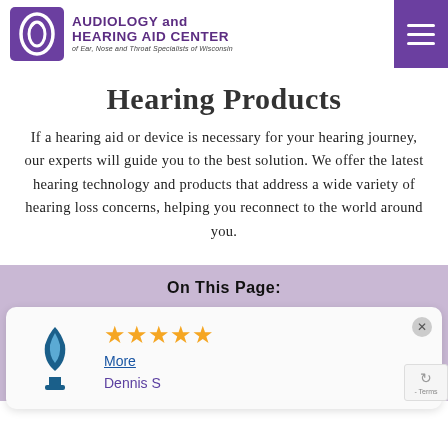Audiology and Hearing Aid Center of Ear, Nose and Throat Specialists of Wisconsin
Hearing Products
If a hearing aid or device is necessary for your hearing journey, our experts will guide you to the best solution. We offer the latest hearing technology and products that address a wide variety of hearing loss concerns, helping you reconnect to the world around you.
On This Page:
★★★★★ More Dennis S